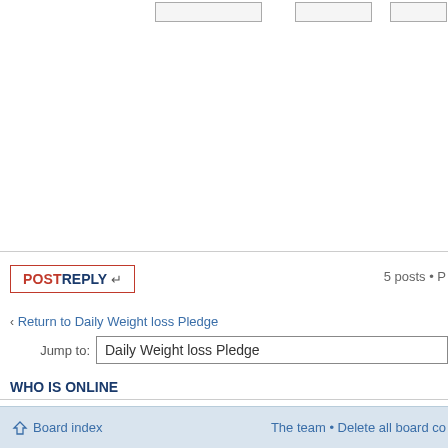POSTREPLY ↵   5 posts • P
‹ Return to Daily Weight loss Pledge
Jump to: Daily Weight loss Pledge
WHO IS ONLINE
Users browsing this forum: No registered users and 3 guests
Board index   The team • Delete all board co